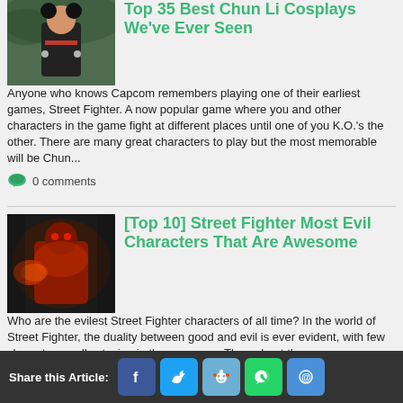[Figure (photo): Chun Li cosplay photo - woman in costume on outdoor background]
Top 35 Best Chun Li Cosplays We've Ever Seen
Anyone who knows Capcom remembers playing one of their earliest games, Street Fighter. A now popular game where you and other characters in the game fight at different places until one of you K.O.'s the other. There are many great characters to play but the most memorable will be Chun...
0 comments
[Figure (photo): Street Fighter evil character - dark red/orange figure with fierce look]
[Top 10] Street Fighter Most Evil Characters That Are Awesome
Who are the evilest Street Fighter characters of all time? In the world of Street Fighter, the duality between good and evil is ever evident, with few characters really staying in the grey area. Throughout the years, many villains have crossed paths with the World Warriors, and each of them...
0 comments
Share this Article: